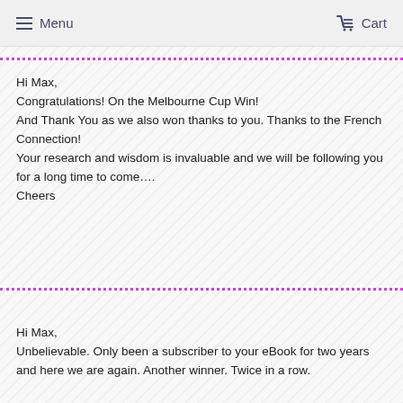Menu   Cart
Hi Max,
Congratulations! On the Melbourne Cup Win!
And Thank You as we also won thanks to you. Thanks to the French Connection!
Your research and wisdom is invaluable and we will be following you for a long time to come....
Cheers
Hi Max,
Unbelievable. Only been a subscriber to your eBook for two years and here we are again. Another winner. Twice in a row.